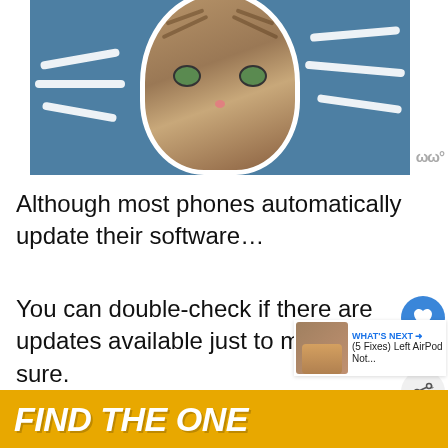[Figure (illustration): A cat face on a blue background with white whisker/streak lines radiating outward, styled as a sticker with white border]
Although most phones automatically update their software…
You can double-check if there are updates available just to make sure.
With that…
Here's how to manually check for u
[Figure (screenshot): Bottom ad banner: yellow/orange background with bold italic white text 'FIND THE ONE' and a dog image on the right]